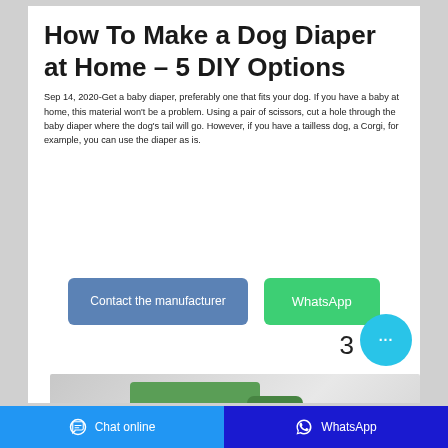How To Make a Dog Diaper at Home – 5 DIY Options
Sep 14, 2020-Get a baby diaper, preferably one that fits your dog. If you have a baby at home, this material won't be a problem. Using a pair of scissors, cut a hole through the baby diaper where the dog's tail will go. However, if you have a tailless dog, a Corgi, for example, you can use the diaper as is.
[Figure (screenshot): Two buttons: 'Contact the manufacturer' (blue/steel) and 'WhatsApp' (green), with a cyan chat bubble icon and number 3]
[Figure (photo): Product photo of a green diaper box with yellow/tan individual diaper items and text 'bubu bebe']
Chat online   WhatsApp